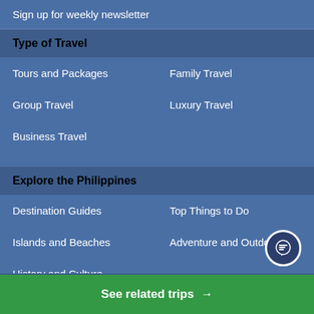Sign up for weekly newsletter
Type of Travel
Tours and Packages
Family Travel
Group Travel
Luxury Travel
Business Travel
Explore the Philippines
Destination Guides
Top Things to Do
Islands and Beaches
Adventure and Outdoors
History and Culture
TOP DESTINATIONS
See related trips →